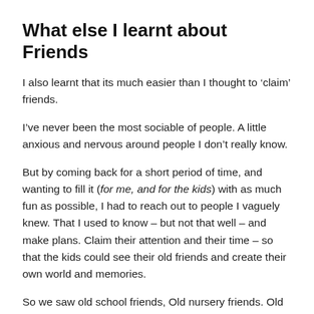What else I learnt about Friends
I also learnt that its much easier than I thought to ‘claim’ friends.
I’ve never been the most sociable of people. A little anxious and nervous around people I don’t really know.
But by coming back for a short period of time, and wanting to fill it (for me, and for the kids) with as much fun as possible, I had to reach out to people I vaguely knew. That I used to know – but not that well – and make plans. Claim their attention and their time – so that the kids could see their old friends and create their own world and memories.
So we saw old school friends, Old nursery friends. Old friends of friends. Old old friends who have moved away and it would have been easy to not see really but...